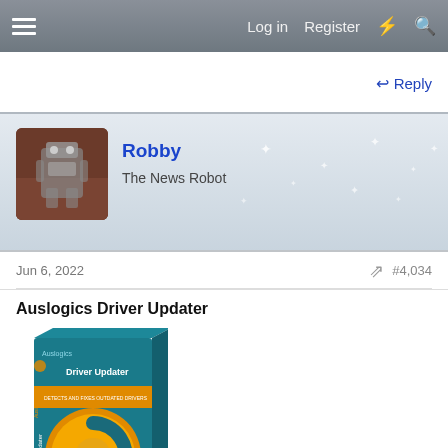Log in   Register
↩ Reply
Robby
The News Robot
Jun 6, 2022   #4,034
Auslogics Driver Updater
[Figure (photo): Auslogics Driver Updater software box product image with teal/blue packaging, orange stripe, and golden circular arrow logo]
Win one of the 50 licenses for Auslogics Driver Updater! This advanced program checks your system for outdated or missing drivers and